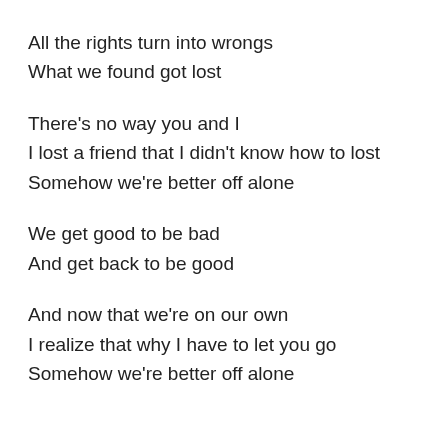All the rights turn into wrongs
What we found got lost
There's no way you and I
I lost a friend that I didn't know how to lost
Somehow we're better off alone
We get good to be bad
And get back to be good
And now that we're on our own
I realize that why I have to let you go
Somehow we're better off alone